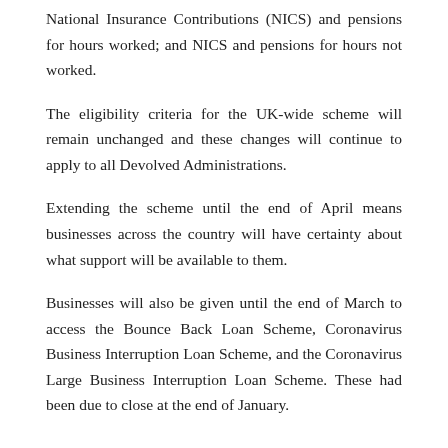National Insurance Contributions (NICS) and pensions for hours worked; and NICS and pensions for hours not worked.
The eligibility criteria for the UK-wide scheme will remain unchanged and these changes will continue to apply to all Devolved Administrations.
Extending the scheme until the end of April means businesses across the country will have certainty about what support will be available to them.
Businesses will also be given until the end of March to access the Bounce Back Loan Scheme, Coronavirus Business Interruption Loan Scheme, and the Coronavirus Large Business Interruption Loan Scheme. These had been due to close at the end of January.